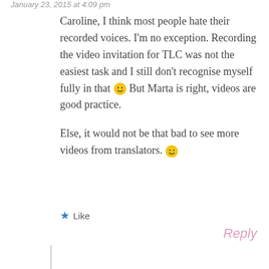January 23, 2015 at 4:09 pm
Caroline, I think most people hate their recorded voices. I'm no exception. Recording the video invitation for TLC was not the easiest task and I still don't recognise myself fully in that 🙂 But Marta is right, videos are good practice.

Else, it would not be that bad to see more videos from translators. 🙂
★ Like
Reply